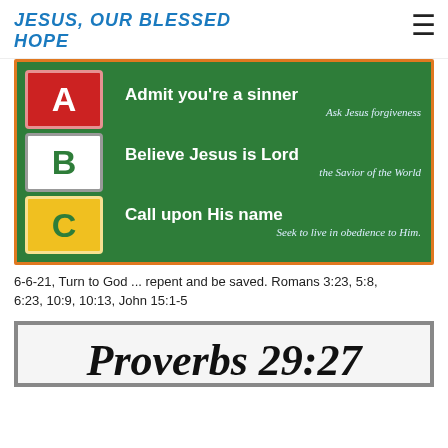JESUS, OUR BLESSED HOPE
[Figure (illustration): Green chalkboard background with ABC alphabet building blocks on the left (A in red, B in white/green, C in yellow/green). Text on right reads: 'Admit you're a sinner / Ask Jesus forgiveness / Believe Jesus is Lord / the Savior of the World / Call upon His name / Seek to live in obedience to Him.' Orange border around image.]
6-6-21, Turn to God ... repent and be saved. Romans 3:23, 5:8, 6:23, 10:9, 10:13, John 15:1-5
[Figure (illustration): Partial view of a decorative calligraphy image showing 'Proverbs 29:27' in ornate script on a light background with gray border, only the top portion visible.]